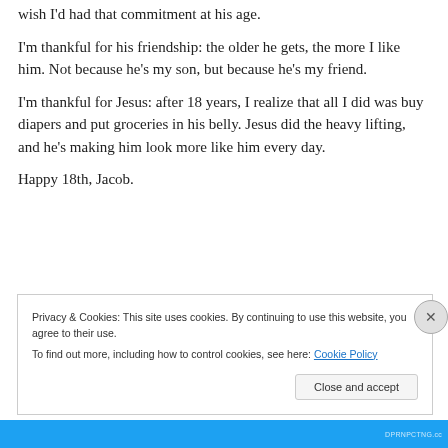wish I'd had that commitment at his age.
I'm thankful for his friendship: the older he gets, the more I like him. Not because he's my son, but because he's my friend.
I'm thankful for Jesus: after 18 years, I realize that all I did was buy diapers and put groceries in his belly. Jesus did the heavy lifting, and he's making him look more like him every day.
Happy 18th, Jacob.
Privacy & Cookies: This site uses cookies. By continuing to use this website, you agree to their use.
To find out more, including how to control cookies, see here: Cookie Policy
Close and accept